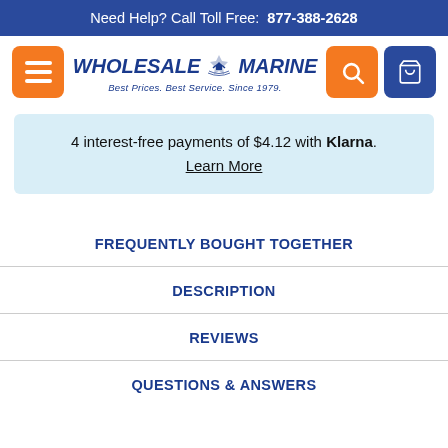Need Help? Call Toll Free: 877-388-2628
[Figure (logo): Wholesale Marine logo with ship icon and tagline 'Best Prices. Best Service. Since 1979.']
4 interest-free payments of $4.12 with Klarna. Learn More
FREQUENTLY BOUGHT TOGETHER
DESCRIPTION
REVIEWS
QUESTIONS & ANSWERS